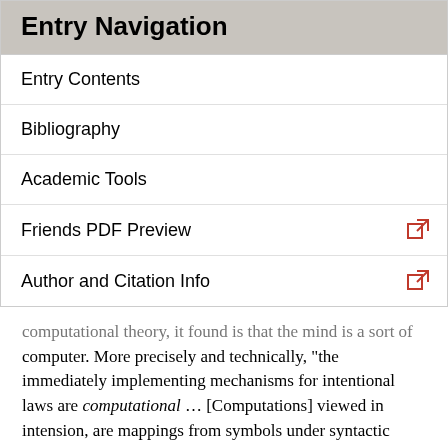Entry Navigation
Entry Contents
Bibliography
Academic Tools
Friends PDF Preview
Author and Citation Info
computational theory, it found is that the mind is a sort of computer. More precisely and technically, “the immediately implementing mechanisms for intentional laws are computational … [Computations] viewed in intension, are mappings from symbols under syntactic description to symbols under syntactic description” (Fodor 1994, 8). And very roughly, we might see Hobbes as saying the same thing. There are various mental processes (compounding ideas, forming propositions, reasoning syllogistically) that we can describe without knowing that reasoning is computation. But the underlying process that’s making this all work is